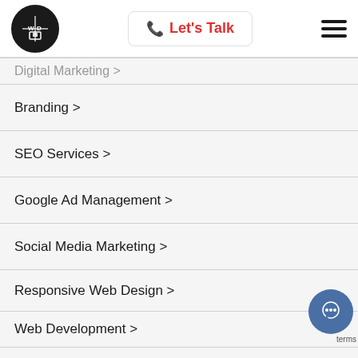Logo | Let's Talk | Hamburger menu
Digital Marketing >
Branding >
SEO Services >
Google Ad Management >
Social Media Marketing >
Responsive Web Design >
Web Development >
Web Design Los Angeles >
Online Reputation Management >